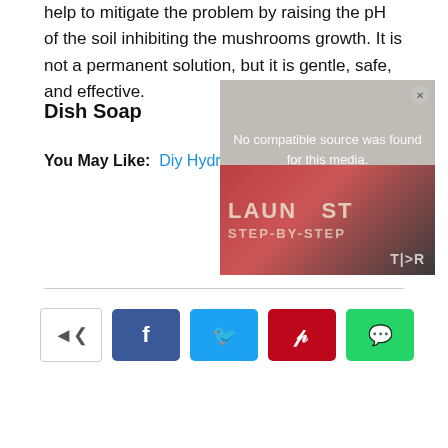help to mitigate the problem by raising the pH of the soil inhibiting the mushrooms growth. It is not a permanent solution, but it is gentle, safe, and effective.
Dish Soap
You May Like: Diy Hydroseeding Kits
[Figure (screenshot): Video player overlay showing 'No compatible source was found for this media.' message over a lawn care tutorial video thumbnail with text 'LAWN' and 'STEP-BY-STEP' and TieR logo]
[Figure (infographic): Social share buttons row: generic share button, Facebook (blue), Twitter (cyan), Pinterest (red), WhatsApp (green)]
[Figure (screenshot): Infolinks advertisement bar at bottom with close button and gray ad area below]